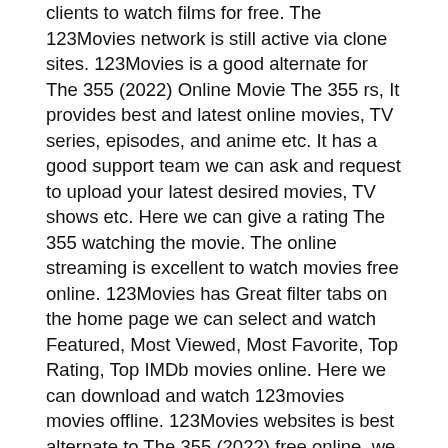clients to watch films for free. The 123Movies network is still active via clone sites. 123Movies is a good alternate for The 355 (2022) Online Movie The 355 rs, It provides best and latest online movies, TV series, episodes, and anime etc. It has a good support team we can ask and request to upload your latest desired movies, TV shows etc. Here we can give a rating The 355 watching the movie. The online streaming is excellent to watch movies free online. 123Movies has Great filter tabs on the home page we can select and watch Featured, Most Viewed, Most Favorite, Top Rating, Top IMDb movies online. Here we can download and watch 123movies movies offline. 123Movies websites is best alternate to The 355 (2022) free online. we will recommend 123Movies is the best Solarmovie alternatives. 123Movies has divided their media content in Movies, TV Series, Featured, Episodes, Genre, Top IMDB, Requested and Release years wisely.
What happened in this movie?
I have a summary for you. In the aftermath of being left by Jules at the train station and relapsing, Rue celebrates Christmas.
All About The movies The 355 takes place four years The 355 Train to B The 355 an as the characters fight to